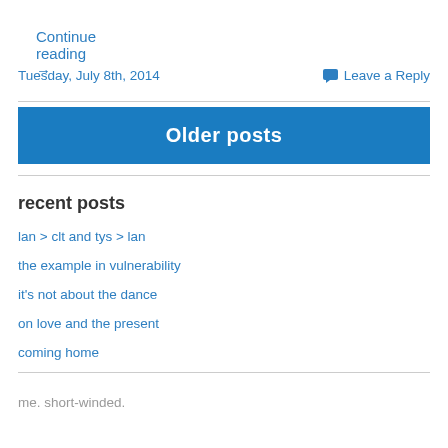Continue reading →
Tuesday, July 8th, 2014
Leave a Reply
Older posts
recent posts
lan > clt and tys > lan
the example in vulnerability
it's not about the dance
on love and the present
coming home
me. short-winded.